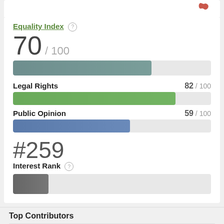Equality Index
70 / 100
[Figure (bar-chart): Equality Index]
Legal Rights 82 / 100
Public Opinion 59 / 100
#259
Interest Rank
Top Contributors